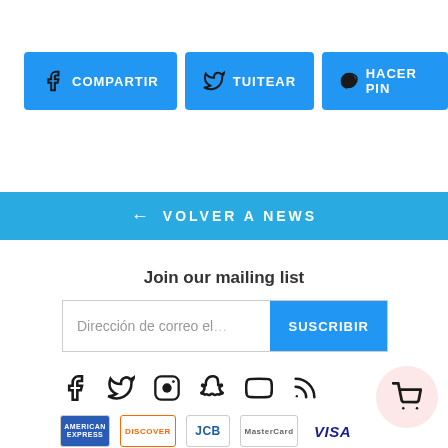[Figure (infographic): Three social sharing buttons: COMPARTIR (Facebook), TUITEAR (Twitter), HACER PIN (Pinterest), all styled in blue]
[Figure (infographic): Blue banner with left arrow and text VOLVER A NEWS]
Join our mailing list
[Figure (infographic): Email input field with placeholder 'Dirección de correo el' and blue SUSCRIBIR button]
[Figure (infographic): Row of social media icons: Facebook, Twitter, Instagram, Snapchat, YouTube, RSS feed]
[Figure (infographic): Payment method logos: American Express, Discover, JCB, MasterCard, Visa]